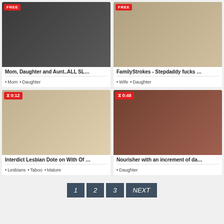[Figure (photo): Video thumbnail top-left with FREE badge showing adult content]
Mom, Daughter and Aunt..ALL SL…
Mom • Daughter
[Figure (photo): Video thumbnail top-right with FREE badge showing adult content]
FamilyStrokes - Stepdaddy fucks …
Wife • Daughter
[Figure (photo): Video thumbnail bottom-left with 0:12 badge showing adult content]
Interdict Lesbian Dote on With Of …
Lesbians • Taboo • Mature
[Figure (photo): Video thumbnail bottom-right with 0:48 badge showing adult content]
Nourisher with an increment of da…
Daughter
1  2  3  NEXT